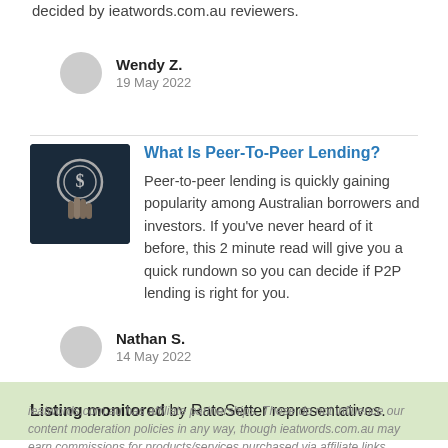decided by ieatwords.com.au reviewers.
Wendy Z.
19 May 2022
What Is Peer-To-Peer Lending?
Peer-to-peer lending is quickly gaining popularity among Australian borrowers and investors. If you've never heard of it before, this 2 minute read will give you a quick rundown so you can decide if P2P lending is right for you.
Nathan S.
14 May 2022
Listing monitored by RateSetter representatives.
ieatwords.com.au has affiliate partnerships. These do not influence our content moderation policies in any way, though ieatwords.com.au may earn commissions for products/services purchased via affiliate links.